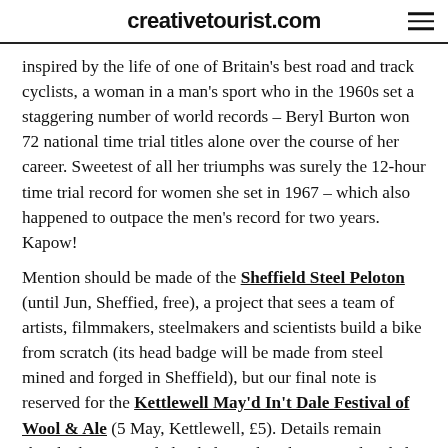creativetourist.com
inspired by the life of one of Britain's best road and track cyclists, a woman in a man's sport who in the 1960s set a staggering number of world records – Beryl Burton won 72 national time trial titles alone over the course of her career. Sweetest of all her triumphs was surely the 12-hour time trial record for women she set in 1967 – which also happened to outpace the men's record for two years. Kapow!
Mention should be made of the Sheffield Steel Peloton (until Jun, Sheffied, free), a project that sees a team of artists, filmmakers, steelmakers and scientists build a bike from scratch (its head badge will be made from steel mined and forged in Sheffield), but our final note is reserved for the Kettlewell May'd In't Dale Festival of Wool & Ale (5 May, Kettlewell, £5). Details remain sketchy but we are led to believe that sheep, wool and ale will